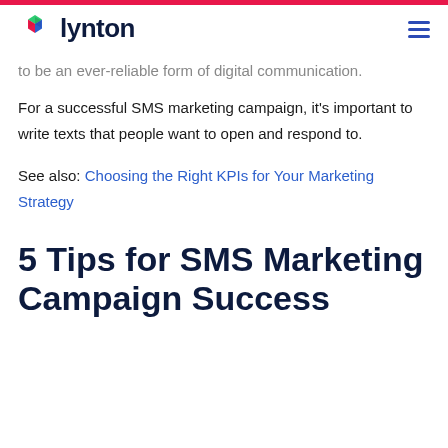lynton
to be an ever-reliable form of digital communication.
For a successful SMS marketing campaign, it's important to write texts that people want to open and respond to.
See also: Choosing the Right KPIs for Your Marketing Strategy
5 Tips for SMS Marketing Campaign Success